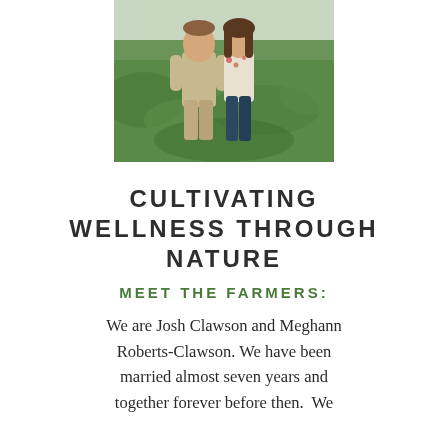[Figure (photo): A couple standing outdoors in a green field/garden setting. The man is on the left wearing a khaki shirt and cargo shorts. The woman is on the right wearing a floral top and dark jeans. Lush green plants are visible in the background.]
CULTIVATING WELLNESS THROUGH NATURE
MEET THE FARMERS:
We are Josh Clawson and Meghann Roberts-Clawson. We have been married almost seven years and together forever before then.  We